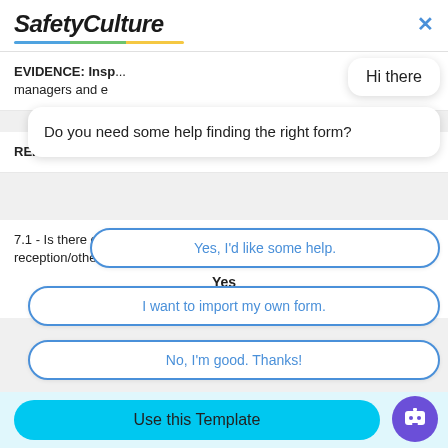[Figure (screenshot): SafetyCulture logo with italic bold text and a colorful underline gradient (blue, green, yellow)]
EVIDENCE: Insp managers and e
REFERENCE: Ofsted
7.1 - Is there clea reception/other services o
Yes
Hi there
Do you need some help finding the right form?
Yes, I'd like some help.
I want to import my own form.
No, I'm good. Thanks!
Use this Template